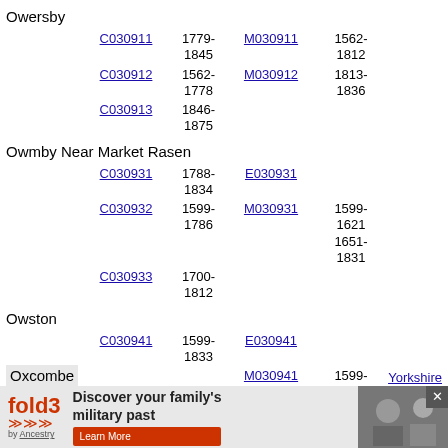Owersby
C030911  1779-1845  M030911  1562-1812
C030912  1562-1778  M030912  1813-1836
C030913  1846-1875
Owmby Near Market Rasen
C030931  1788-1834  E030931
C030932  1599-1786  M030931  1599-1621 1651-1831
C030933  1700-1812
Owston
Yorkshire
C030941  1599-1833  E030941
M030941  1599-1622-164
Oxcombe